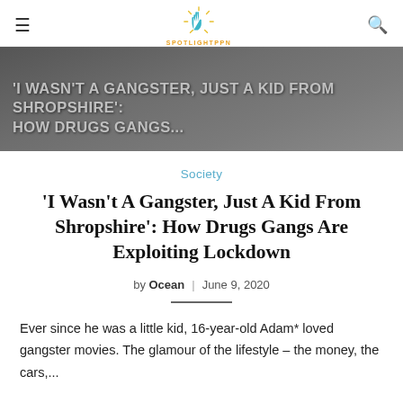SPOTLIGHTPPN (navigation bar with hamburger menu, logo, and search icon)
[Figure (photo): Hero banner image with dark grey gradient background showing text overlay of article headline]
Society
'I Wasn't A Gangster, Just A Kid From Shropshire': How Drugs Gangs Are Exploiting Lockdown
by Ocean | June 9, 2020
Ever since he was a little kid, 16-year-old Adam* loved gangster movies. The glamour of the lifestyle – the money, the cars,...